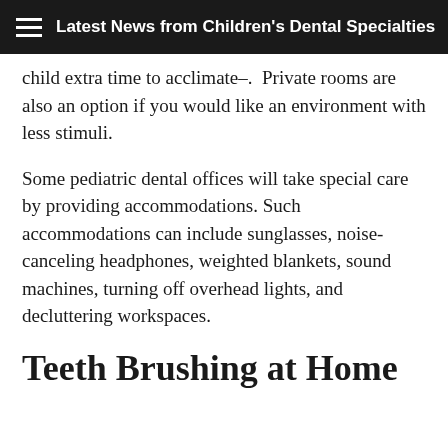Latest News from Children's Dental Specialties
child extra time to acclimate–.  Private rooms are also an option if you would like an environment with less stimuli.
Some pediatric dental offices will take special care by providing accommodations. Such accommodations can include sunglasses, noise-canceling headphones, weighted blankets, sound machines, turning off overhead lights, and decluttering workspaces.
Teeth Brushing at Home